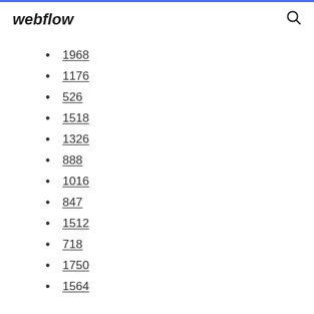webflow
1968
1176
526
1518
1326
888
1016
847
1512
718
1750
1564